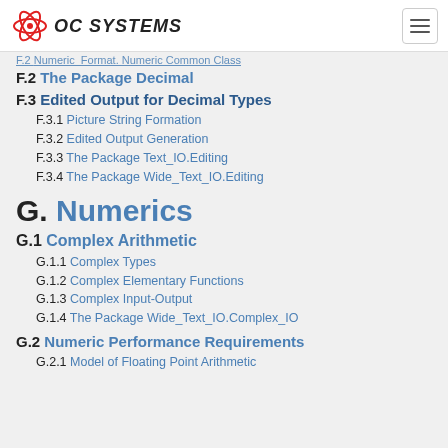OC Systems
F.2 The Package Decimal
F.3 Edited Output for Decimal Types
F.3.1 Picture String Formation
F.3.2 Edited Output Generation
F.3.3 The Package Text_IO.Editing
F.3.4 The Package Wide_Text_IO.Editing
G. Numerics
G.1 Complex Arithmetic
G.1.1 Complex Types
G.1.2 Complex Elementary Functions
G.1.3 Complex Input-Output
G.1.4 The Package Wide_Text_IO.Complex_IO
G.2 Numeric Performance Requirements
G.2.1 Model of Floating Point Arithmetic